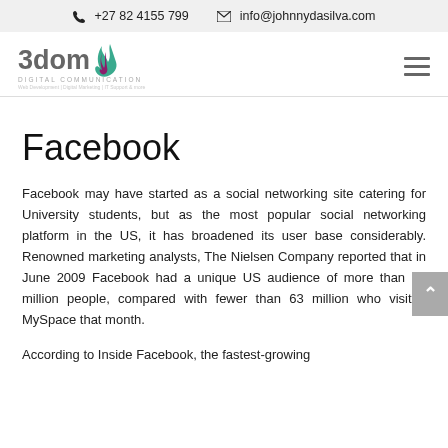☎ +27 82 4155 799   ✉ info@johnnydasilva.com
[Figure (logo): 3doma Digital Communication logo with flame graphic]
Facebook
Facebook may have started as a social networking site catering for University students, but as the most popular social networking platform in the US, it has broadened its user base considerably. Renowned marketing analysts, The Nielsen Company reported that in June 2009 Facebook had a unique US audience of more than 87 million people, compared with fewer than 63 million who visited MySpace that month.
According to Inside Facebook, the fastest-growing